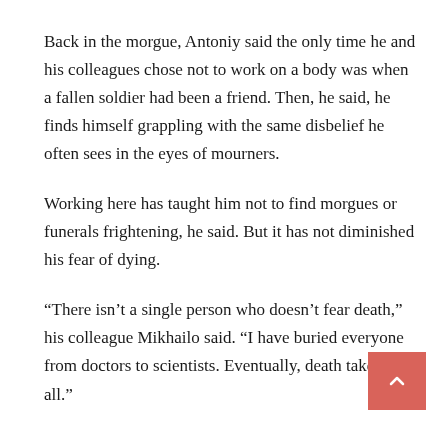Back in the morgue, Antoniy said the only time he and his colleagues chose not to work on a body was when a fallen soldier had been a friend. Then, he said, he finds himself grappling with the same disbelief he often sees in the eyes of mourners.
Working here has taught him not to find morgues or funerals frightening, he said. But it has not diminished his fear of dying.
“There isn’t a single person who doesn’t fear death,” his colleague Mikhailo said. “I have buried everyone from doctors to scientists. Eventually, death takes us all.”